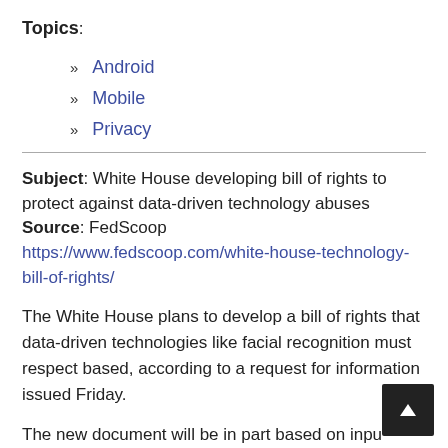Topics:
Android
Mobile
Privacy
Subject: White House developing bill of rights to protect against data-driven technology abuses
Source: FedScoop
https://www.fedscoop.com/white-house-technology-bill-of-rights/
The White House plans to develop a bill of rights that data-driven technologies like facial recognition must respect based, according to a request for information issued Friday.
The new document will be in part based on input from government agencies, academia and industry. The Office of Science and Technology